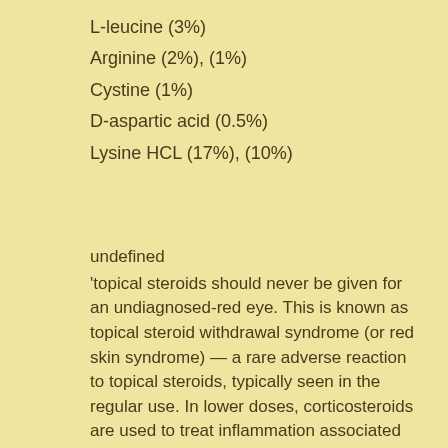L-leucine (3%)
Arginine (2%), (1%)
Cystine (1%)
D-aspartic acid (0.5%)
Lysine HCL (17%), (10%)
undefined
'topical steroids should never be given for an undiagnosed-red eye. This is known as topical steroid withdrawal syndrome (or red skin syndrome) — a rare adverse reaction to topical steroids, typically seen in the regular use. In lower doses, corticosteroids are used to treat inflammation associated with: bronchitis; other respiratory conditions;